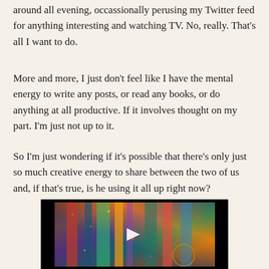around all evening, occassionally perusing my Twitter feed for anything interesting and watching TV. No, really. That's all I want to do.
More and more, I just don't feel like I have the mental energy to write any posts, or read any books, or do anything at all productive. If it involves thought on my part. I'm just not up to it.
So I'm just wondering if it's possible that there's only just so much creative energy to share between the two of us and, if that's true, is he using it all up right now?
[Figure (photo): A video player with a colorful abstract painting visible as the thumbnail — swirling reds, greens, blues, yellows on a dark background — with a white play button triangle in the center. The player has a black border/letterbox surround.]